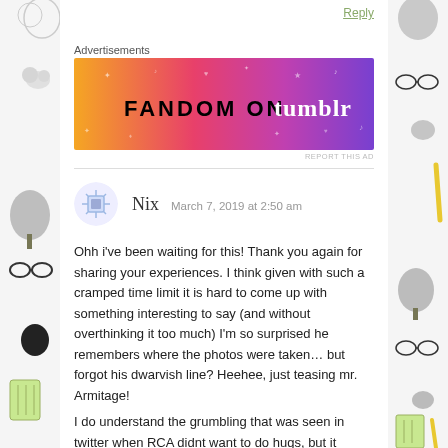Reply
Advertisements
[Figure (illustration): Fandom on Tumblr advertisement banner with orange-to-purple gradient background and decorative icons]
REPORT THIS AD
Nix   March 7, 2019 at 2:50 am
Ohh i've been waiting for this! Thank you again for sharing your experiences. I think given with such a cramped time limit it is hard to come up with something interesting to say (and without overthinking it too much) I'm so surprised he remembers where the photos were taken… but forgot his dwarvish line? Heehee, just teasing mr. Armitage!
I do understand the grumbling that was seen in twitter when RCA didnt want to do hugs, but it